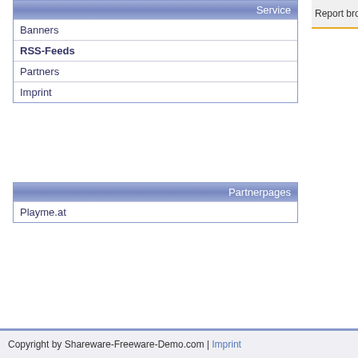Service
Banners
RSS-Feeds
Partners
Imprint
Partnerpages
Playme.at
Report broken Link
Copyright by Shareware-Freeware-Demo.com | Imprint